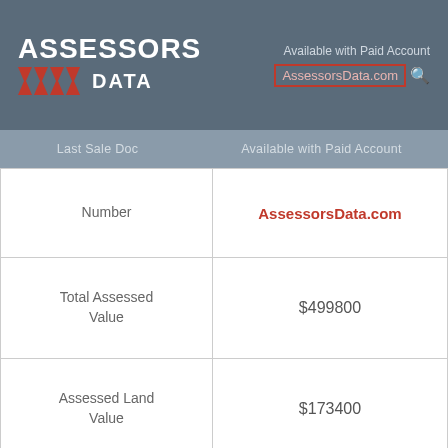[Figure (logo): Assessors Data logo with red chevrons on grey header background]
Available with Paid Account AssessorsData.com
|  |  |
| --- | --- |
| Last Sale Doc Number | AssessorsData.com |
| Total Assessed Value | $499800 |
| Assessed Land Value | $173400 |
| Assessed Improvement Value | $326400 |
| Tax Amount | $607610 |
| Tax Year | 2019 |